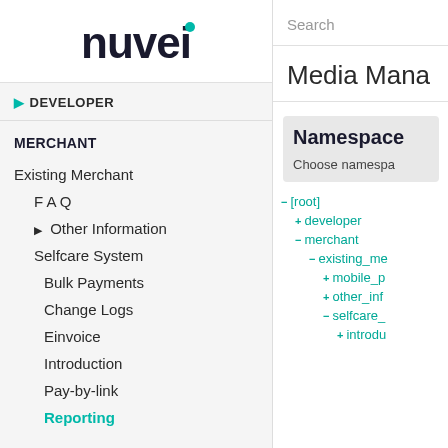[Figure (logo): Nuvei logo with teal dot above the letter i]
DEVELOPER
MERCHANT
Existing Merchant
FAQ
Other Information
Selfcare System
Bulk Payments
Change Logs
Einvoice
Introduction
Pay-by-link
Reporting
Search
Media Mana
Namespace
Choose namespa
- [root]
+ developer
- merchant
- existing_me
+ mobile_p
+ other_inf
- selfcare_
+ introdu